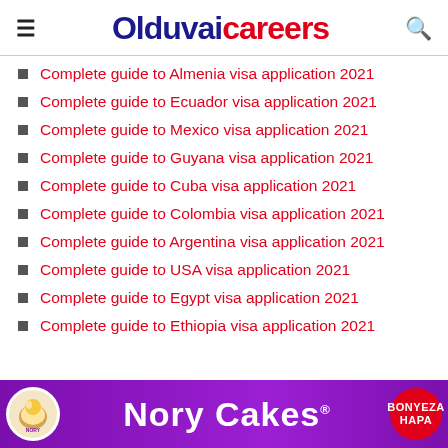Olduvaicareers
Complete guide to Almenia visa application 2021
Complete guide to Ecuador visa application 2021
Complete guide to Mexico visa application 2021
Complete guide to Guyana visa application 2021
Complete guide to Cuba visa application 2021
Complete guide to Colombia visa application 2021
Complete guide to Argentina visa application 2021
Complete guide to USA visa application 2021
Complete guide to Egypt visa application 2021
Complete guide to Ethiopia visa application 2021
[Figure (illustration): Nory Cakes advertisement banner with purple background, white bold text 'Nory Cakes' with registered trademark symbol, a circular logo on the left, and a red circular 'BONYEZA HAPA' button on the right.]